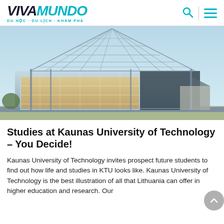VIVAMUNDO · DU HỌC · DU LỊCH · KHÁM PHÁ
[Figure (photo): Modern glass and steel university building with triangular lattice roof structure, illuminated interior, photographed at dusk with clear blue sky]
Studies at Kaunas University of Technology – You Decide!
Kaunas University of Technology invites prospect future students to find out how life and studies in KTU looks like. Kaunas University of Technology is the best illustration of all that Lithuania can offer in higher education and research. Our